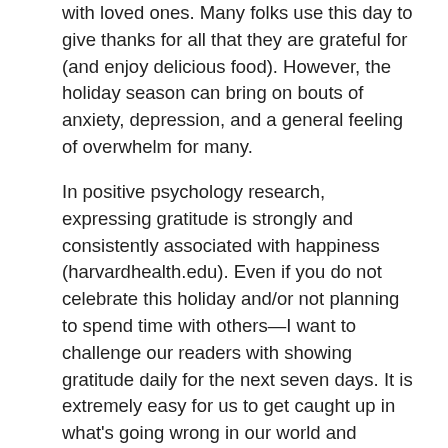with loved ones. Many folks use this day to give thanks for all that they are grateful for (and enjoy delicious food). However, the holiday season can bring on bouts of anxiety, depression, and a general feeling of overwhelm for many.
In positive psychology research, expressing gratitude is strongly and consistently associated with happiness (harvardhealth.edu). Even if you do not celebrate this holiday and/or not planning to spend time with others—I want to challenge our readers with showing gratitude daily for the next seven days. It is extremely easy for us to get caught up in what's going wrong in our world and personal lives that it gets difficult to see all that we have to be thankful for. Can you think of five things or people, RIGHT now, that you are grateful for?